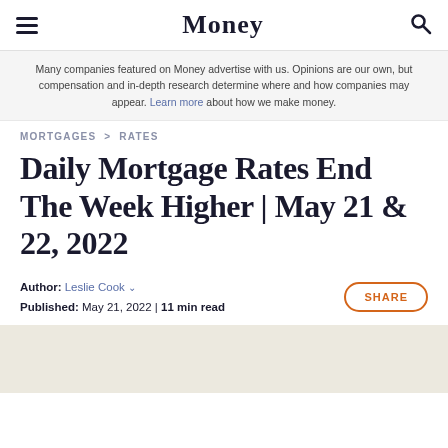Money
Many companies featured on Money advertise with us. Opinions are our own, but compensation and in-depth research determine where and how companies may appear. Learn more about how we make money.
MORTGAGES > RATES
Daily Mortgage Rates End The Week Higher | May 21 & 22, 2022
Author: Leslie Cook
Published: May 21, 2022 | 11 min read